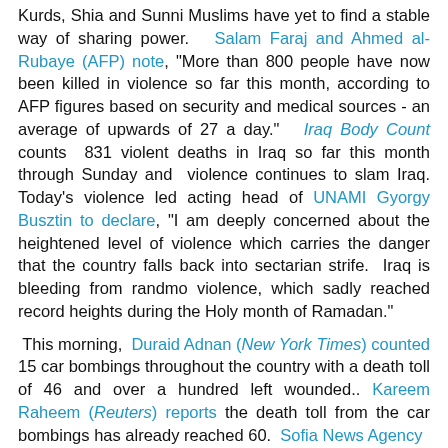Kurds, Shia and Sunni Muslims have yet to find a stable way of sharing power." Salam Faraj and Ahmed al-Rubaye (AFP) note, "More than 800 people have now been killed in violence so far this month, according to AFP figures based on security and medical sources - an average of upwards of 27 a day." Iraq Body Count counts 831 violent deaths in Iraq so far this month through Sunday and violence continues to slam Iraq. Today's violence led acting head of UNAMI Gyorgy Busztin to declare, "I am deeply concerned about the heightened level of violence which carries the danger that the country falls back into sectarian strife. Iraq is bleeding from randmo violence, which sadly reached record heights during the Holy month of Ramadan."
This morning, Duraid Adnan (New York Times) counted 15 car bombings throughout the country with a death toll of 46 and over a hundred left wounded.. Kareem Raheem (Reuters) reports the death toll from the car bombings has already reached 60. Sofia News Agency offers "The Baghdad blasts which injured...